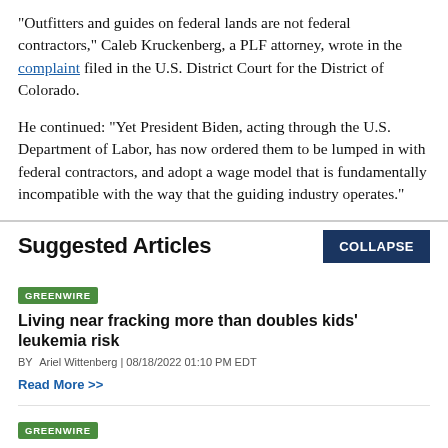"Outfitters and guides on federal lands are not federal contractors," Caleb Kruckenberg, a PLF attorney, wrote in the complaint filed in the U.S. District Court for the District of Colorado.
He continued: "Yet President Biden, acting through the U.S. Department of Labor, has now ordered them to be lumped in with federal contractors, and adopt a wage model that is fundamentally incompatible with the way that the guiding industry operates."
Suggested Articles
GREENWIRE
Living near fracking more than doubles kids' leukemia risk
BY Ariel Wittenberg | 08/18/2022 01:10 PM EDT
Read More >>
GREENWIRE
Mining companies strike gold with new climate law